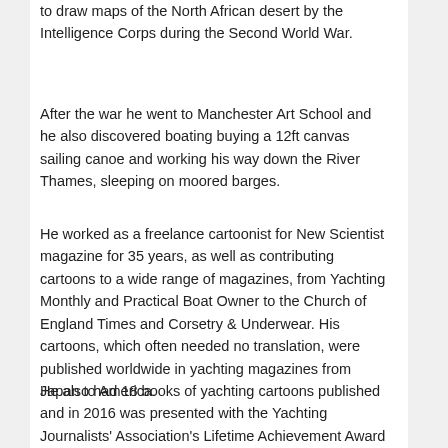to draw maps of the North African desert by the Intelligence Corps during the Second World War.
After the war he went to Manchester Art School and he also discovered boating buying a 12ft canvas sailing canoe and working his way down the River Thames, sleeping on moored barges.
He worked as a freelance cartoonist for New Scientist magazine for 35 years, as well as contributing cartoons to a wide range of magazines, from Yachting Monthly and Practical Boat Owner to the Church of England Times and Corsetry & Underwear. His cartoons, which often needed no translation, were published worldwide in yachting magazines from Japan to America.
He also had 18 books of yachting cartoons published and in 2016 was presented with the Yachting Journalists' Association's Lifetime Achievement Award and dubbed the 'Picasso of sailing'.